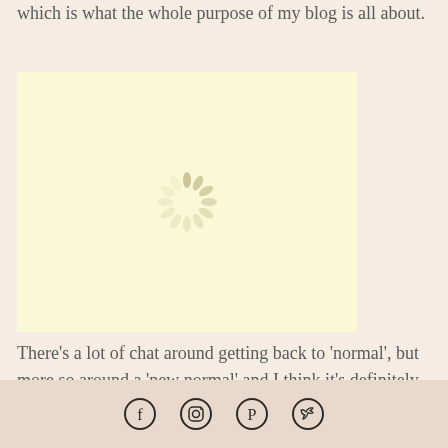which is what the whole purpose of my blog is all about.
[Figure (other): Light yellow placeholder box with a loading spinner icon in the center]
There’s a lot of chat around getting back to ‘normal’, but more so around a ‘new normal’ and I think it’s definitely a time to reflect on what aspects of the old way of working we want to return to, and what maybe we should try and
Social media icons: Facebook, Instagram, Pinterest, Twitter